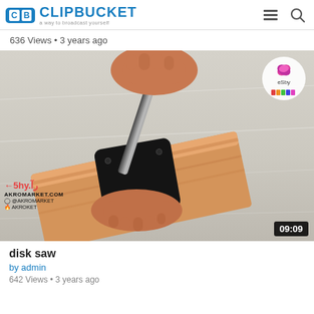CLIPBUCKET a way to broadcast yourself
636 Views • 3 years ago
[Figure (screenshot): Video thumbnail showing hands using a drill on a black metal plate mounted on a wooden block, with AKROMARKET.COM watermark and 09:09 timer badge]
disk saw
by admin
642 Views • 3 years ago